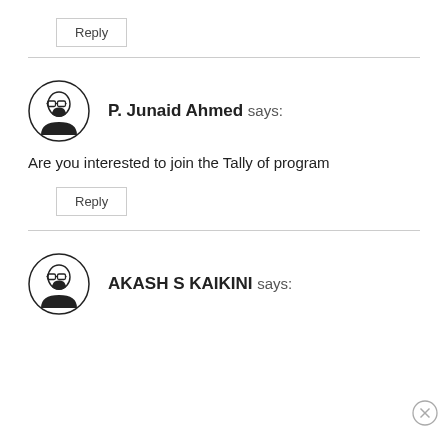Reply
P. Junaid Ahmed says:
Are you interested to join the Tally of program
Reply
AKASH S KAIKINI says: